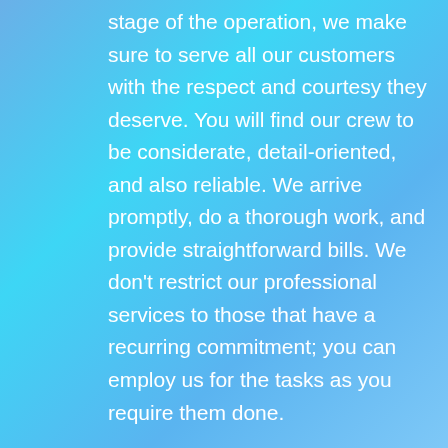stage of the operation, we make sure to serve all our customers with the respect and courtesy they deserve. You will find our crew to be considerate, detail-oriented, and also reliable. We arrive promptly, do a thorough work, and provide straightforward bills. We don't restrict our professional services to those that have a recurring commitment; you can employ us for the tasks as you require them done.
Affordability: We know that whether you are supervising upkeeping at a